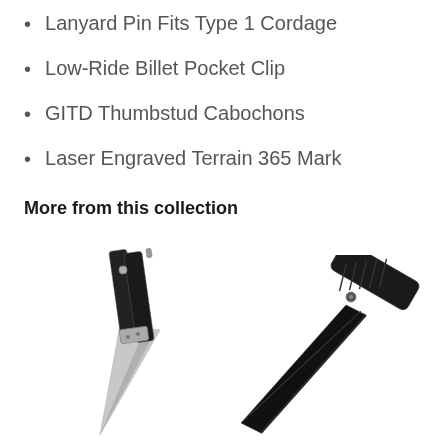Lanyard Pin Fits Type 1 Cordage
Low-Ride Billet Pocket Clip
GITD Thumbstud Cabochons
Laser Engraved Terrain 365 Mark
More from this collection
[Figure (photo): Butterfly knife (balisong) with silver blade and black handles with silver hardware, shown open]
[Figure (photo): Folding knife with black blade and black textured handle, shown open and extending to the right]